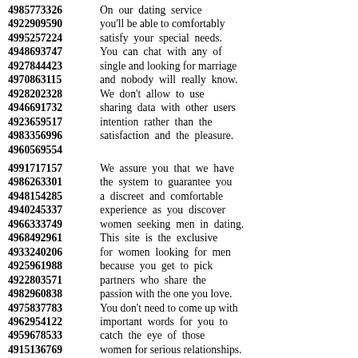4985773326 On our dating service
4922909590 you'll be able to comfortably
4995257224 satisfy your special needs.
4948693747 You can chat with any of
4927844423 single and looking for marriage
4970863115 and nobody will really know.
4928202328 We don't allow to use
4946691732 sharing data with other users
4923659517 intention rather than the
4983356996 satisfaction and the pleasure.
4960569554
4991717157 We assure you that we have
4986263301 the system to guarantee you
4948154285 a discreet and comfortable
4940245337 experience as you discover
4966333749 women seeking men in dating.
4968492961 This site is the exclusive
4933240206 for women looking for men
4925961988 because you get to pick
4922803571 partners who share the
4982960838 passion with the one you love.
4975837783 You don't need to come up with
4962954122 important words for you to
4959678533 catch the eye of those
4915136769 women for serious relationships.